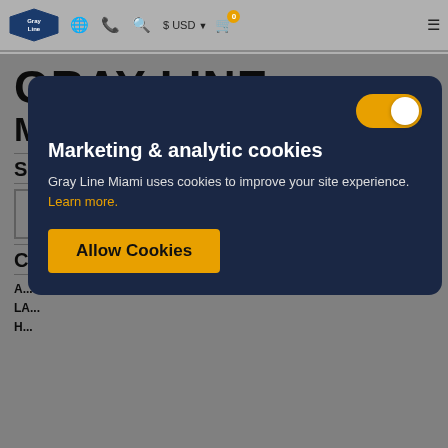Gray Line navigation bar with logo, globe icon, phone icon, search icon, $ USD currency selector, cart (0), and menu icon
GRAY LINE
M...
S...
C...
A...
LA...
H...
[Figure (screenshot): Cookie consent modal overlay on Gray Line Miami website. Contains a toggle switch (enabled/orange), heading 'Marketing & analytic cookies', body text 'Gray Line Miami uses cookies to improve your site experience. Learn more.', and an 'Allow Cookies' button.]
Marketing & analytic cookies
Gray Line Miami uses cookies to improve your site experience. Learn more.
Allow Cookies